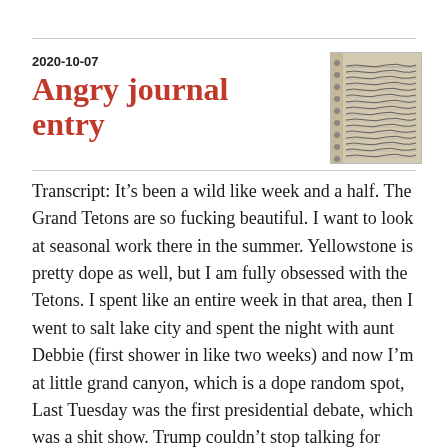2020-10-07
Angry journal entry
[Figure (photo): Photo of a handwritten journal page with dense lines of cursive text on lined notebook paper]
Transcript: It’s been a wild like week and a half. The Grand Tetons are so fucking beautiful. I want to look at seasonal work there in the summer. Yellowstone is pretty dope as well, but I am fully obsessed with the Tetons. I spent like an entire week in that area, then I went to salt lake city and spent the night with aunt Debbie (first shower in like two weeks) and now I’m at little grand canyon, which is a dope random spot, Last Tuesday was the first presidential debate, which was a shit show. Trump couldn’t stop talking for more than like twenty seconds. Today was the vice presidential debate, which was also a mess, but not as bad. The star of the show was a fly on Pence’s head. But, the